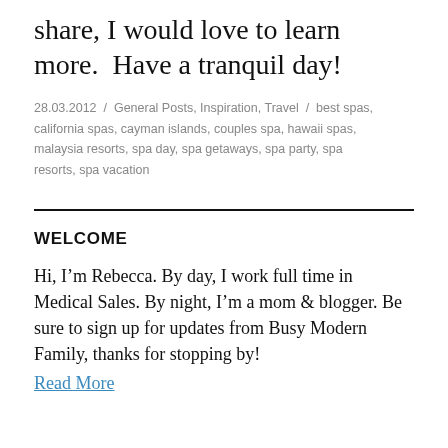share, I would love to learn more. Have a tranquil day!
28.03.2012 / General Posts, Inspiration, Travel / best spas, california spas, cayman islands, couples spa, hawaii spas, malaysia resorts, spa day, spa getaways, spa party, spa resorts, spa vacation
WELCOME
Hi, I'm Rebecca. By day, I work full time in Medical Sales. By night, I'm a mom & blogger. Be sure to sign up for updates from Busy Modern Family, thanks for stopping by!
Read More